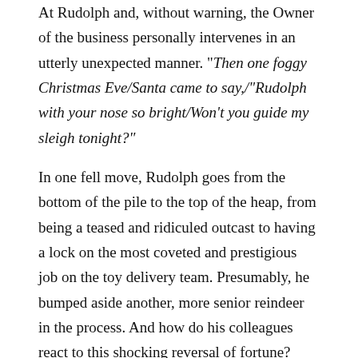At Rudolph and, without warning, the Owner of the business personally intervenes in an utterly unexpected manner. "Then one foggy Christmas Eve/Santa came to say,/"Rudolph with your nose so bright/Won't you guide my sleigh tonight?"
In one fell move, Rudolph goes from the bottom of the pile to the top of the heap, from being a teased and ridiculed outcast to having a lock on the most coveted and prestigious job on the toy delivery team. Presumably, he bumped aside another, more senior reindeer in the process. And how do his colleagues react to this shocking reversal of fortune? Here's what the song tells us: "Then all the reindeer loved him/As they shouted out with glee."
Then all the reindeer loved him? Ho-ho-ho!